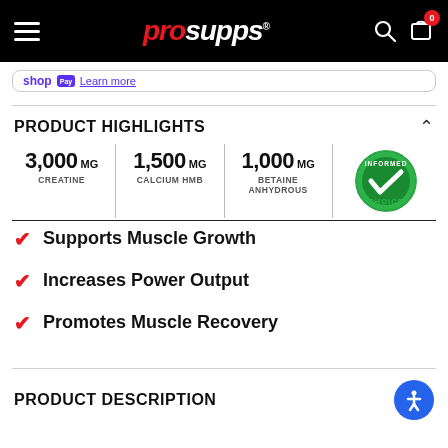ProSupps website header with hamburger menu, ProSupps logo, search and cart icons
shop — Learn more
PRODUCT HIGHLIGHTS
[Figure (infographic): Product stats: 3,000 MG Creatine | 1,500 MG Calcium HMB | 1,000 MG Betaine Anhydrous | Informed Choice badge]
Supports Muscle Growth
Increases Power Output
Promotes Muscle Recovery
PRODUCT DESCRIPTION